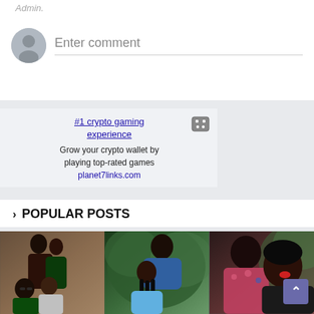Admin.
Enter comment
[Figure (infographic): Advertisement for crypto gaming: #1 crypto gaming experience. Grow your crypto wallet by playing top-rated games. planet7links.com]
POPULAR POSTS
[Figure (photo): Three panels showing couples: left panel shows two couples kissing/smiling, center panel shows a man and woman facing each other outdoors with green foliage, right panel shows a man and woman posing together.]